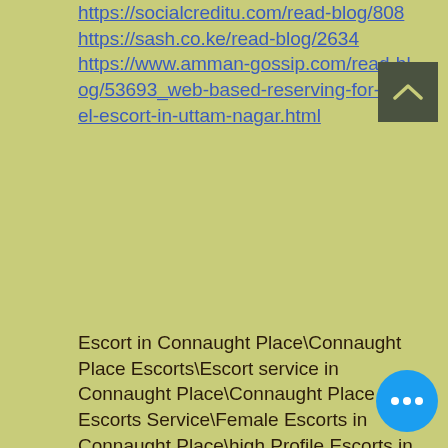https://socialcreditu.com/read-blog/808
https://sash.co.ke/read-blog/2634
https://www.amman-gossip.com/read-blog/53693_web-based-reserving-for-model-escort-in-uttam-nagar.html
Escort in Connaught Place\Connaught Place Escorts\Escort service in Connaught Place\Connaught Place Escorts Service\Female Escorts in Connaught Place\high Profile Escorts in Connaught Place\independent Escorts in Connaught Place\Vip Escort in Connaught Place\celebrity Escort in Connaught